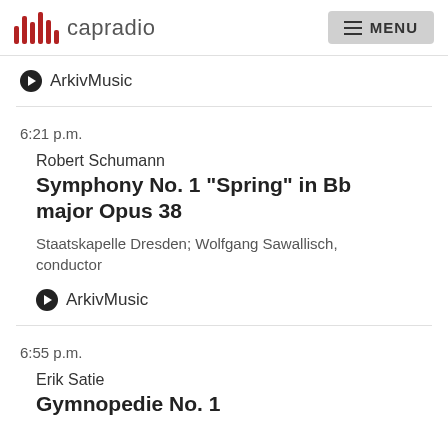capradio  MENU
▶ ArkivMusic
6:21 p.m.
Robert Schumann
Symphony No. 1 "Spring" in Bb major Opus 38
Staatskapelle Dresden; Wolfgang Sawallisch, conductor
▶ ArkivMusic
6:55 p.m.
Erik Satie
Gymnopedie No. 1